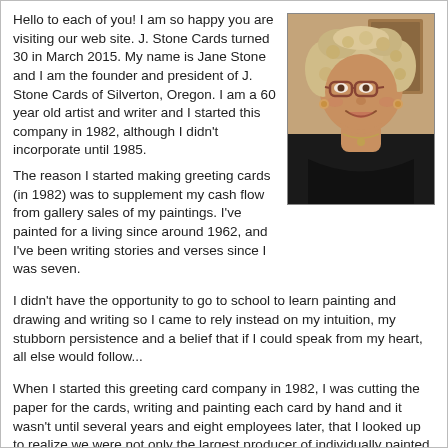Hello to each of you! I am so happy you are visiting our web site. J. Stone Cards turned 30 in March 2015. My name is Jane Stone and I am the founder and president of J. Stone Cards of Silverton, Oregon. I am a 60 year old artist and writer and I started this company in 1982, although I didn't incorporate until 1985.
[Figure (photo): Portrait photo of a woman with curly light hair, glasses, wearing a dark top and necklace, smiling at the camera.]
The reason I started making greeting cards (in 1982) was to supplement my cash flow from gallery sales of my paintings. I've painted for a living since around 1962, and I've been writing stories and verses since I was seven.
I didn't have the opportunity to go to school to learn painting and drawing and writing so I came to rely instead on my intuition, my stubborn persistence and a belief that if I could speak from my heart, all else would follow...
When I started this greeting card company in 1982, I was cutting the paper for the cards, writing and painting each card by hand and it wasn't until several years and eight employees later, that I looked up to realize we were not only the largest producer of individually painted water color cards in the US, but that our product represented some of the finest hand painted cards in the marketplace.